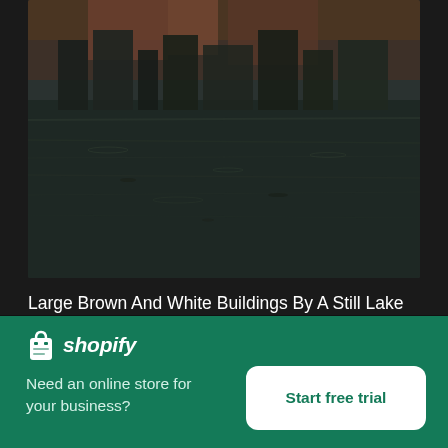[Figure (photo): Water reflection photo showing large brown and white buildings by a still lake, dark tones with rippled water surface]
Large Brown And White Buildings By A Still Lake
High resolution download ↓
[Figure (photo): Partial view of sky with clouds, bottom portion of a second image visible]
[Figure (logo): Shopify logo with bag icon and italic shopify wordmark on green background]
Need an online store for your business?
Start free trial